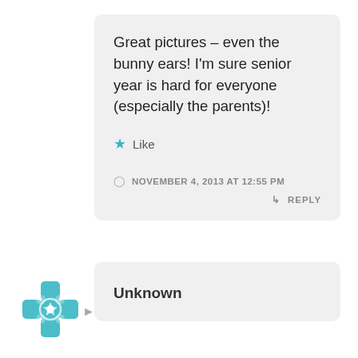Great pictures – even the bunny ears! I'm sure senior year is hard for everyone (especially the parents)!
★ Like
NOVEMBER 4, 2013 AT 12:55 PM
↳ REPLY
[Figure (logo): Teal/turquoise decorative cross/flower medallion avatar icon]
Unknown